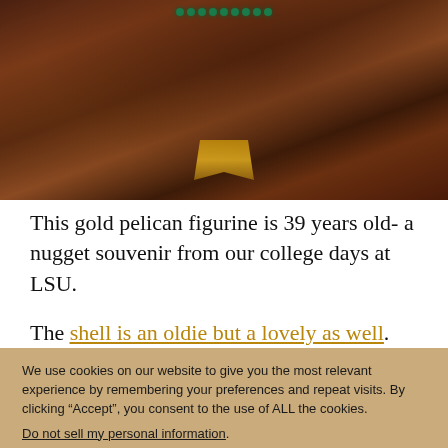[Figure (photo): Close-up photo of a gold pelican figurine with green jewel beading, dark warm-toned background]
This gold pelican figurine is 39 years old- a nugget souvenir from our college days at LSU.
The shell is an oldie but a lovely as well.
We use cookies on our website to give you the most relevant experience by remembering your preferences and repeat visits. By clicking “Accept”, you consent to the use of ALL the cookies. Do not sell my personal information.